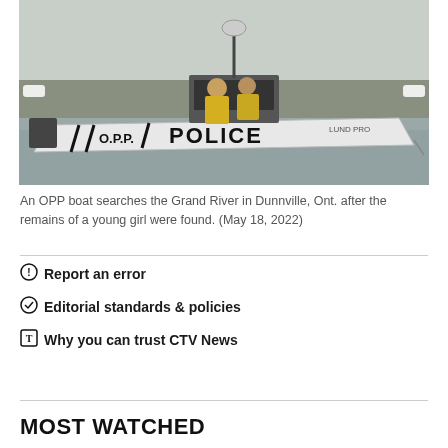[Figure (photo): An OPP police boat on the Grand River in Dunnville, Ontario. Two officers in yellow jackets visible on the white boat marked 'OPP' and 'POLICE'.]
An OPP boat searches the Grand River in Dunnville, Ont. after the remains of a young girl were found. (May 18, 2022)
Report an error
Editorial standards & policies
Why you can trust CTV News
MOST WATCHED